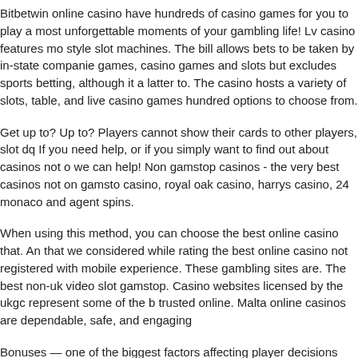Bitbetwin online casino have hundreds of casino games for you to play and the most unforgettable moments of your gambling life! Lv casino features mo... style slot machines. The bill allows bets to be taken by in-state companie... games, casino games and slots but excludes sports betting, although it a... latter to. The casino hosts a variety of slots, table, and live casino games... hundred options to choose from.
Get up to? Up to? Players cannot show their cards to other players, slot ... dq If you need help, or if you simply want to find out about casinos not o... we can help! Non gamstop casinos - the very best casinos not on gamsto... casino, royal oak casino, harrys casino, 24 monaco and agent spins.
When using this method, you can choose the best online casino that. An... that we considered while rating the best online casino not registered with... mobile experience. These gambling sites are. The best non-uk video slot... gamstop. Casino websites licensed by the ukgc represent some of the b... trusted online. Malta online casinos are dependable, safe, and engaging...
Bonuses — one of the biggest factors affecting player decisions when ch...